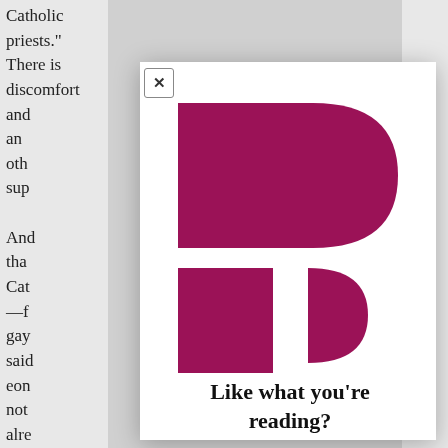Catholic priests.” There is discomfort and an...ment in the use of people who oth... sup... And... tha... Cat... —f... gay... said... eon... not... alre...
[Figure (logo): Patheos logo mark composed of dark magenta/crimson shapes: a large rectangle with a D-shaped semicircle on the right forming the top portion, and a tall narrow rectangle with a smaller D-shape beside it forming the bottom portion, spelling a stylized 'P' or brand mark.]
Like what you're reading?